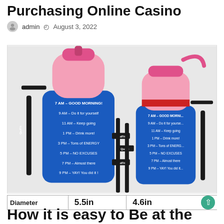Purchasing Online Casino
admin  August 3, 2022
[Figure (photo): Two QuiFit branded water bottles with blue neoprene sleeves and pink caps. The sleeves have motivational time-based messages. Left bottle is larger (5.5in diameter), right bottle is smaller (4.6in diameter). Both have black shoulder straps with QuiFit branding.]
| Diameter | 5.5in | 4.6in |
| --- | --- | --- |
How it is easy to Be at the pinnacle with Cash Gun